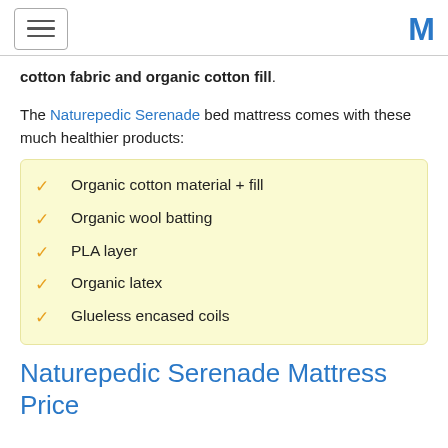[hamburger menu] [M logo]
cotton fabric and organic cotton fill.
The Naturepedic Serenade bed mattress comes with these much healthier products:
Organic cotton material + fill
Organic wool batting
PLA layer
Organic latex
Glueless encased coils
Naturepedic Serenade Mattress Price